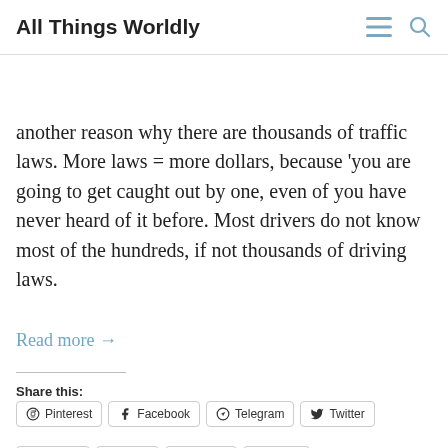All Things Worldly
tickets you issue, counts towards your promotion, and pay increases, etc... is another reason why there are thousands of traffic laws. More laws = more dollars, because 'you are going to get caught out by one, even of you have never heard of it before. Most drivers do not know most of the hundreds, if not thousands of driving laws.
Read more →
Share this:
Pinterest  Facebook  Telegram  Twitter  Reddit  Print  Tumblr  More
Like this:
Like
Be the first to like this.